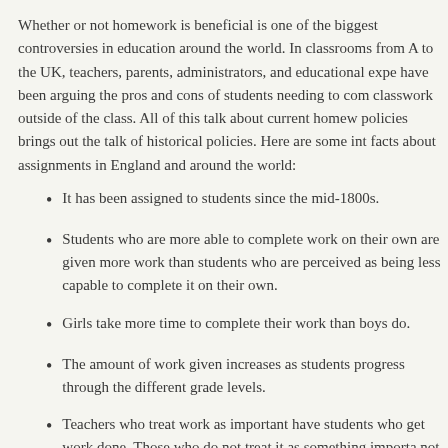Whether or not homework is beneficial is one of the biggest controversies in education around the world. In classrooms from A to the UK, teachers, parents, administrators, and educational experts have been arguing the pros and cons of students needing to complete classwork outside of the class. All of this talk about current homework policies brings out the talk of historical policies. Here are some interesting facts about assignments in England and around the world:
It has been assigned to students since the mid-1800s.
Students who are more able to complete work on their own are given more work than students who are perceived as being less capable to complete it on their own.
Girls take more time to complete their work than boys do.
The amount of work given increases as students progress through the different grade levels.
Teachers who treat work as important have students who get more work done. Those who do not treat it as something important do not have as many assignments completed by their students.